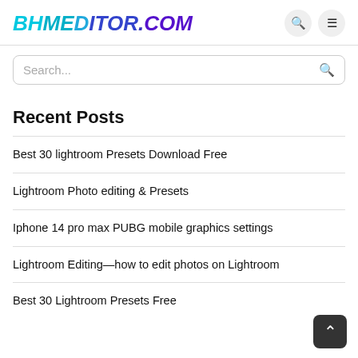BHMEDITOR.COM
Search...
Recent Posts
Best 30 lightroom Presets Download Free
Lightroom Photo editing & Presets
Iphone 14 pro max PUBG mobile graphics settings
Lightroom Editing—how to edit photos on Lightroom
Best 30 Lightroom Presets Free